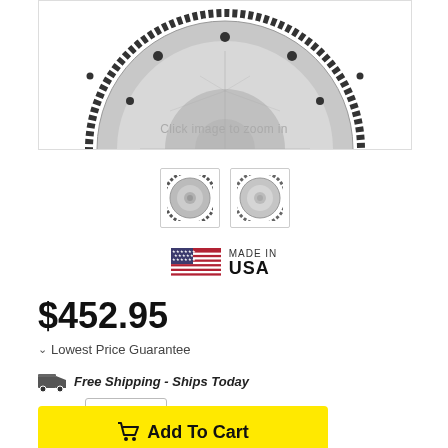[Figure (photo): Partial view of a steel flywheel with toothed outer ring and bolt holes, showing top half of the circular component against white background]
Click image to zoom in
[Figure (photo): Two thumbnail images of the flywheel product — front view and back view]
[Figure (logo): Made in USA logo with American flag]
$452.95
Lowest Price Guarantee
Free Shipping - Ships Today
QTY  1
Add To Cart